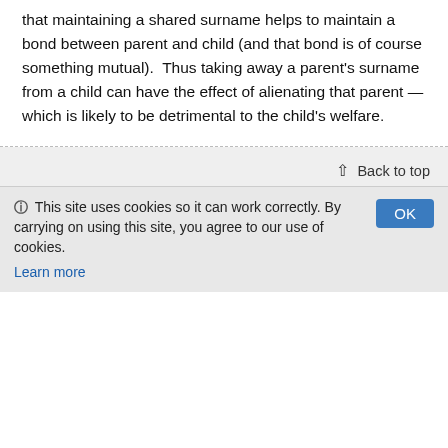that maintaining a shared surname helps to maintain a bond between parent and child (and that bond is of course something mutual).  Thus taking away a parent's surname from a child can have the effect of alienating that parent — which is likely to be detrimental to the child's welfare.
↑ Back to top
[Figure (logo): Deed Poll Office logo — shield icon with crown and text 'Deed·Poll·Office']
About us
✏ Deed Poll Office
P.O. Box 123
Who we are
Contact us
ℹ This site uses cookies so it can work correctly. By carrying on using this site, you agree to our use of cookies.
Learn more